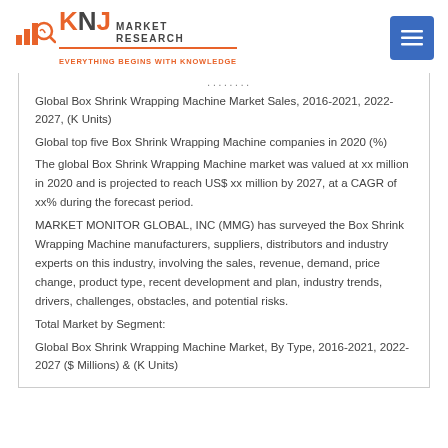[Figure (logo): KNJ Market Research logo with tagline 'Everything Begins with Knowledge']
Global Box Shrink Wrapping Machine Market Sales, 2016-2021, 2022-2027, (K Units)
Global top five Box Shrink Wrapping Machine companies in 2020 (%)
The global Box Shrink Wrapping Machine market was valued at xx million in 2020 and is projected to reach US$ xx million by 2027, at a CAGR of xx% during the forecast period.
MARKET MONITOR GLOBAL, INC (MMG) has surveyed the Box Shrink Wrapping Machine manufacturers, suppliers, distributors and industry experts on this industry, involving the sales, revenue, demand, price change, product type, recent development and plan, industry trends, drivers, challenges, obstacles, and potential risks.
Total Market by Segment:
Global Box Shrink Wrapping Machine Market, By Type, 2016-2021, 2022-2027 ($ Millions) & (K Units)